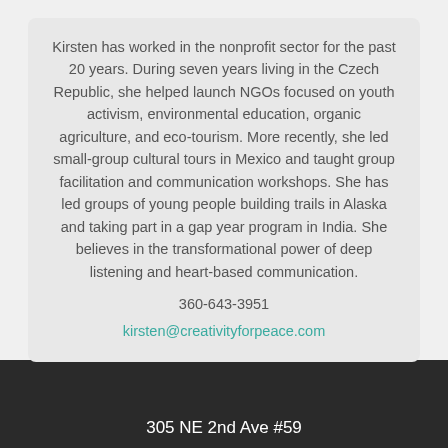Kirsten has worked in the nonprofit sector for the past 20 years. During seven years living in the Czech Republic, she helped launch NGOs focused on youth activism, environmental education, organic agriculture, and eco-tourism. More recently, she led small-group cultural tours in Mexico and taught group facilitation and communication workshops. She has led groups of young people building trails in Alaska and taking part in a gap year program in India. She believes in the transformational power of deep listening and heart-based communication.
360-643-3951
kirsten@creativityforpeace.com
305 NE 2nd Ave #59